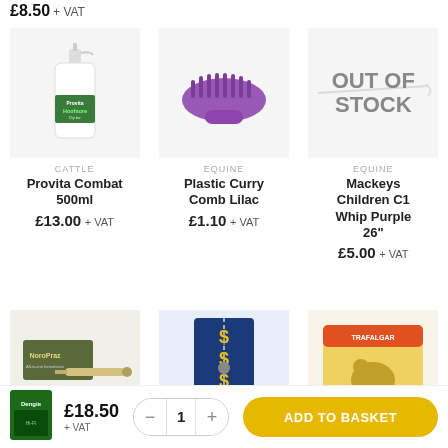£8.50 + VAT
[Figure (photo): Provita Hoofsure bottle product photo]
CATTLE
Provita Combat 500ml
£13.00 + VAT
[Figure (photo): Plastic Curry Comb Lilac product photo]
EQUINE
Plastic Curry Comb Lilac
£1.10 + VAT
[Figure (photo): Mackeys Children C1 Whip Purple 26 inch - out of stock]
EQUINE
Mackeys Children C1 Whip Purple 26"
£5.00 + VAT
[Figure (photo): NoroPraz product photo]
[Figure (photo): Blue product with $ symbols]
[Figure (photo): Yellow bag product photo]
£18.50 + VAT
[Figure (photo): Dengie product small image in bottom bar]